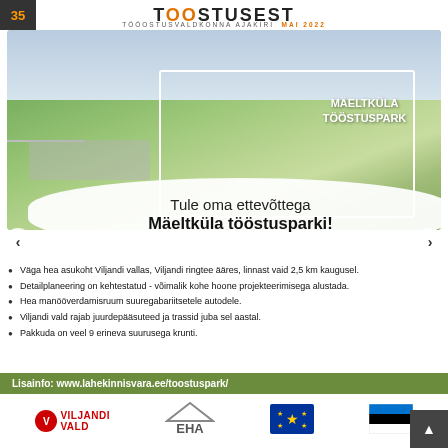55 TÖÖSTUSEST – TÖÖOSTUSVALDKONNA AJAKIRI MAI 2022
[Figure (photo): Aerial photograph of Mäeltküla Tööstuspark (industrial park) showing green fields with a white boundary outline marking the plots, rural buildings and roads visible, text overlay reading MÄELTKÜLA TÖÖSTUSPARK. Navigation arrows on left and right sides.]
Tule oma ettevõttega Mäeltküla tööstusparki!
Väga hea asukoht Viljandi vallas, Viljandi ringtee ääres, linnast vaid 2,5 km kaugusel.
Detailplaneering on kehtestatud - võimalik kohe hoone projekteerimisega alustada.
Hea manööverdamisruum suuregabariitsetele autodele.
Viljandi vald rajab juurdepääsuteed ja trassid juba sel aastal.
Pakkuda on veel 9 erineva suurusega krunti.
Lisainfo: www.lahekinnisvara.ee/toostuspark/
[Figure (logo): Logos of Viljandi Vald, EHA, EU flag, and Estonian flag]